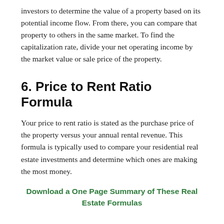investors to determine the value of a property based on its potential income flow. From there, you can compare that property to others in the same market. To find the capitalization rate, divide your net operating income by the market value or sale price of the property.
6. Price to Rent Ratio Formula
Your price to rent ratio is stated as the purchase price of the property versus your annual rental revenue. This formula is typically used to compare your residential real estate investments and determine which ones are making the most money.
Download a One Page Summary of These Real Estate Formulas
7. Price Per Square Foot Formula
Use price per square foot to compare...